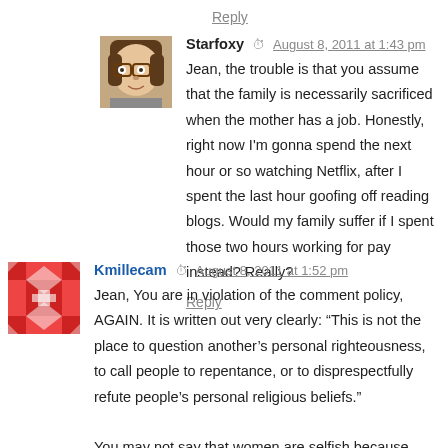Reply
Starfoxy  August 8, 2011 at 1:43 pm
Jean, the trouble is that you assume that the family is necessarily sacrificed when the mother has a job. Honestly, right now I'm gonna spend the next hour or so watching Netflix, after I spent the last hour goofing off reading blogs. Would my family suffer if I spent those two hours working for pay instead? Really?
Reply
Kmillecam  August 8, 2011 at 1:52 pm
Jean, You are in violation of the comment policy, AGAIN. It is written out very clearly: “This is not the place to question another’s personal righteousness, to call people to repentance, or to disprespectfully refute people’s personal religious beliefs.”

You may not say that women are selfish because they